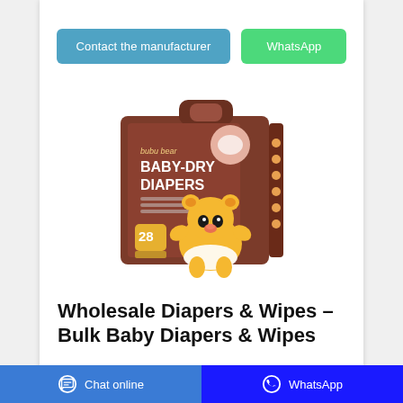[Figure (screenshot): Two call-to-action buttons: 'Contact the manufacturer' (teal/blue) and 'WhatsApp' (green)]
[Figure (photo): Product photo of Bubu Bear Baby-Dry Diapers box with cartoon bear mascot, 28 count]
Wholesale Diapers & Wipes – Bulk Baby Diapers & Wipes
[Figure (screenshot): Bottom navigation bar with 'Chat online' button (blue) and 'WhatsApp' button (dark blue)]